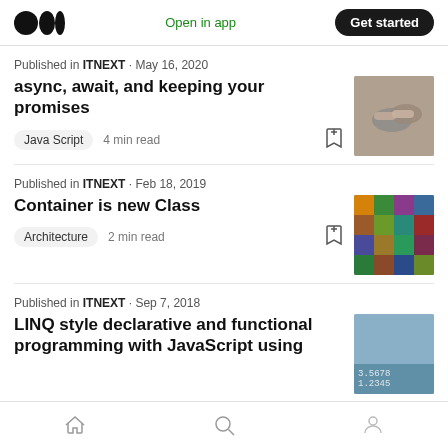Medium logo | Open in app | Get started
Published in ITNEXT · May 16, 2020
async, await, and keeping your promises
Java Script  4 min read
Published in ITNEXT · Feb 18, 2019
Container is new Class
Architecture  2 min read
Published in ITNEXT · Sep 7, 2018
LINQ style declarative and functional programming with JavaScript using
Home | Search | Profile